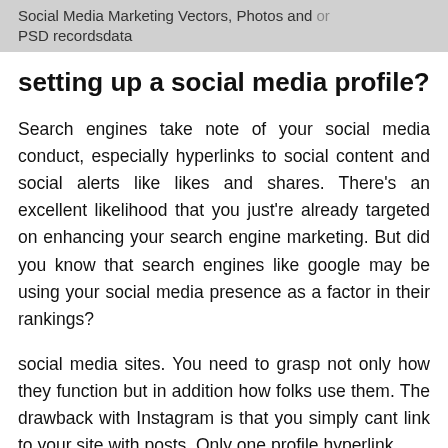Social Media Marketing Vectors, Photos and PSD recordsdata
setting up a social media profile?
Search engines take note of your social media conduct, especially hyperlinks to social content and social alerts like likes and shares. There’s an excellent likelihood that you just’re already targeted on enhancing your search engine marketing. But did you know that search engines like google may be using your social media presence as a factor in their rankings?
social media sites. You need to grasp not only how they function but in addition how folks use them. The drawback with Instagram is that you simply cant link to your site with posts. Only one profile hyperlink...